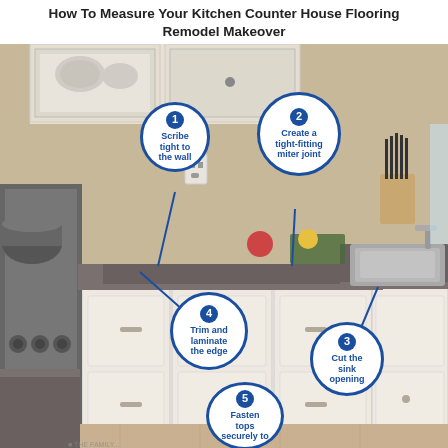How To Measure Your Kitchen Counter House Flooring Remodel Makeover
[Figure (infographic): Kitchen photo showing countertops with 5 numbered callout bubbles: 1-Scribe tight to the wall, 2-Create a tight-fitting miter joint, 3-Cut the sink opening, 4-Trim and laminate the edge, 5-Fasten tops securely to]